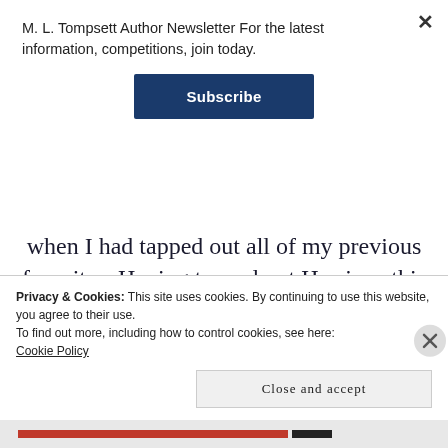M. L. Tompsett Author Newsletter For the latest information, competitions, join today.
[Figure (other): Subscribe button - dark navy blue rectangular button with white bold text 'Subscribe']
when I had tapped out all of my previous favorites. Having tapped out Harrison this series was a perfect pickup for me. Tompsett’s paranormal landscape is at once different, but familiar. The familiar are some of the generally
Privacy & Cookies: This site uses cookies. By continuing to use this website, you agree to their use.
To find out more, including how to control cookies, see here:
Cookie Policy
Close and accept